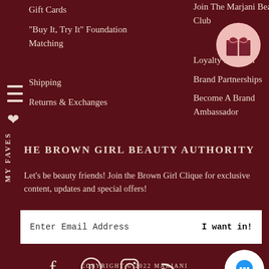Gift Cards
"Buy It, Try It" Foundation Matching
Shipping
Returns & Exchanges
Join The Marjani Beauty Club
Loyalty Program
Brand Partnerships
Become A Brand Ambassador
THE BROWN GIRL BEAUTY AUTHORITY
Let's be beauty friends! Join the Brown Girl Clique for exclusive content, updates and special offers!
[Figure (other): Email newsletter signup form with placeholder text 'Enter Email Address' and button 'I want in!']
[Figure (other): Social media icons: Facebook, Pinterest, Instagram, RSS feed]
COPYRIGHT © 2022 MARJANI